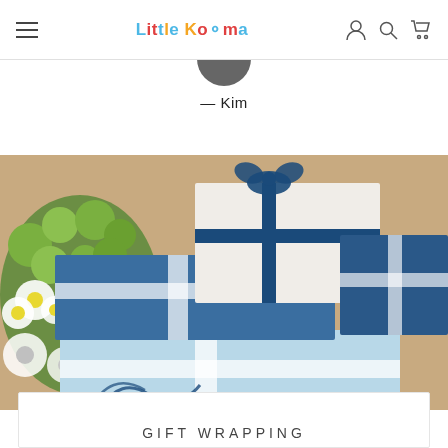Little Kooma — navigation header with menu, logo, account, search, cart icons
— Kim
[Figure (photo): Stacked blue and white gift boxes with blue satin ribbon bows, with white and green flowers in the background on a burlap surface]
GIFT WRAPPING